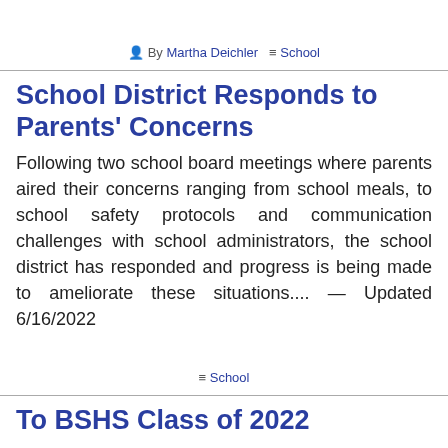By Martha Deichler  ☰ School
School District Responds to Parents' Concerns
Following two school board meetings where parents aired their concerns ranging from school meals, to school safety protocols and communication challenges with school administrators, the school district has responded and progress is being made to ameliorate these situations.... — Updated 6/16/2022
☰ School
To BSHS Class of 2022
Dear Class of 2022, You have done it! I am so proud of all your accomplishments and growth. I have known most of you since you were 5th graders at the elementary school and it has been